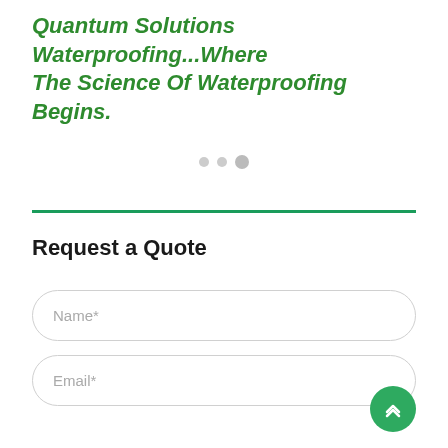Quantum Solutions Waterproofing...Where The Science Of Waterproofing Begins.
Request a Quote
Name*
Email*